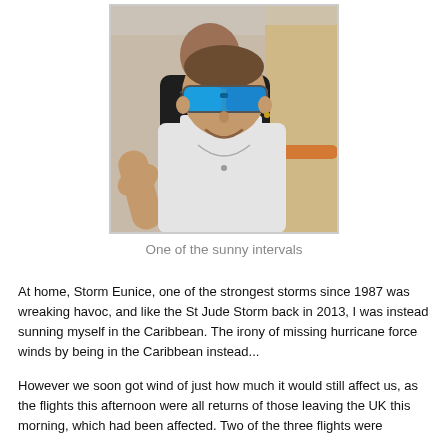[Figure (photo): Two men taking a selfie outdoors, one wearing a dark floral shirt standing behind, the other in front wearing a white tank top and blue reflective sunglasses. Background shows a sunny outdoor setting with railings.]
One of the sunny intervals
At home, Storm Eunice, one of the strongest storms since 1987 was wreaking havoc, and like the St Jude Storm back in 2013, I was instead sunning myself in the Caribbean. The irony of missing hurricane force winds by being in the Caribbean instead...
However we soon got wind of just how much it would still affect us, as the flights this afternoon were all returns of those leaving the UK this morning, which had been affected. Two of the three flights were